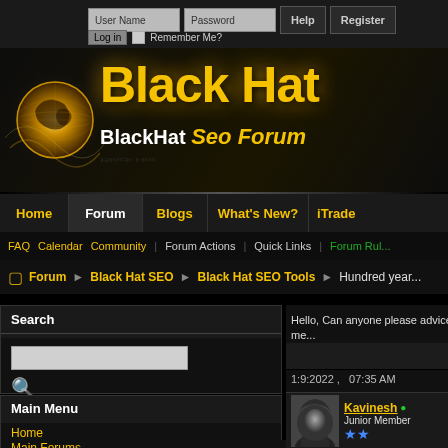[Figure (screenshot): BlackHat SEO Forum website header with login fields, globe logo, and Black Hat title]
User Name | Password | Help | Register | Log in | Remember Me?
[Figure (logo): Black Hat SEO Forum logo with golden globe and stylized text]
Home | Forum | Blogs | What's New? | iTrade
FAQ  Calendar  Community  Forum Actions  Quick Links  Forum Rules
Forum  Black Hat SEO  Black Hat SEO Tools  Hundred year...
Search
Advanced Search
Main Menu
Home
Main Forums
Hello, Can anyone please advice me...
1:9:2022 ,   07:35 AM
Kavinesh • Junior Member ★★
[Figure (photo): User avatar: hooded figure in grayscale photo]